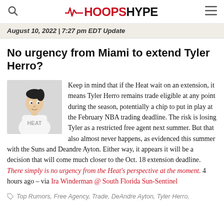HOOPSHYPE
August 10, 2022 | 7:27 pm EDT Update
No urgency from Miami to extend Tyler Herro?
Keep in mind that if the Heat wait on an extension, it means Tyler Herro remains trade eligible at any point during the season, potentially a chip to put in play at the February NBA trading deadline. The risk is losing Tyler as a restricted free agent next summer. But that also almost never happens, as evidenced this summer with the Suns and Deandre Ayton. Either way, it appears it will be a decision that will come much closer to the Oct. 18 extension deadline. There simply is no urgency from the Heat's perspective at the moment. 4 hours ago – via Ira Winderman @ South Florida Sun-Sentinel
Top Rumors, Free Agency, Trade, DeAndre Ayton, Tyler Herro,